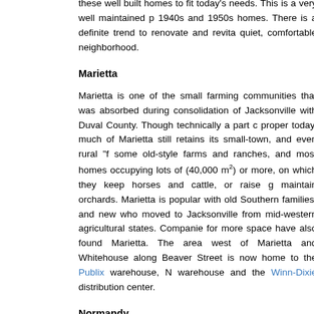these well built homes to fit today's needs. This is a very well maintained p 1940s and 1950s homes. There is a definite trend to renovate and revita quiet, comfortable neighborhood.
Marietta
Marietta is one of the small farming communities that was absorbed during consolidation of Jacksonville with Duval County. Though technically a part c proper today, much of Marietta still retains its small-town, and even rural "f some old-style farms and ranches, and most homes occupying lots of (40,000 m²) or more, on which they keep horses and cattle, or raise g maintain orchards. Marietta is popular with old Southern families, and new who moved to Jacksonville from mid-western agricultural states. Companie for more space have also found Marietta. The area west of Marietta and Whitehouse along Beaver Street is now home to the Publix warehouse, N warehouse and the Winn-Dixie distribution center.
Normandy
Outside of what would eventually become Jacksonville, and originally calle Settlement", The Normandy area was settled by Jacksonville's "Founding the "Hogan's" who were the first white settlers in Duval County. The Norma is a large swath of forested high-ground that straddles both sides of N Boulevard, and stretches from Cassat Avenue on the East, out to Herlong A the West, and is bordered by I-10 to the North, and Wilson Road to th Though originally populated by the large ranches of many of Duval founding families such as the Hogans, Lindsays, Fourakers, and the Hod